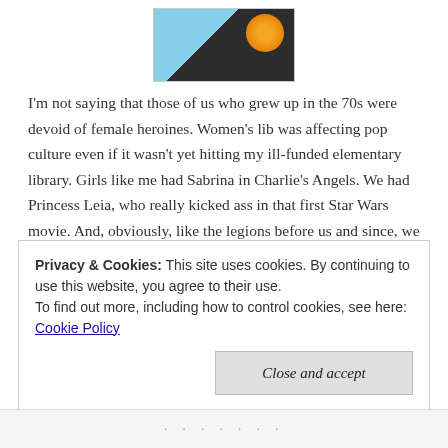[Figure (photo): Partial image at top of page showing a dark-clothed figure against a blue sky with an orange/yellow glowing orb, cropped at bottom of frame]
I'm not saying that those of us who grew up in the 70s were devoid of female heroines. Women's lib was affecting pop culture even if it wasn't yet hitting my ill-funded elementary library. Girls like me had Sabrina in Charlie's Angels. We had Princess Leia, who really kicked ass in that first Star Wars movie. And, obviously, like the legions before us and since, we had Jo, in Little Women. I must have read that book a dozen times, and every time I felt sick—throw up, take to my bed SICK—when Amy got to go to Europe instead of Jo. It
Privacy & Cookies: This site uses cookies. By continuing to use this website, you agree to their use.
To find out more, including how to control cookies, see here: Cookie Policy
Close and accept